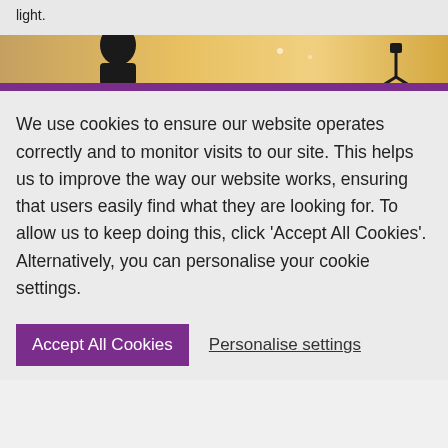light.
[Figure (photo): Partial view of a banner image with warm golden/orange tones, silhouettes of a person and a camera/tripod, with a purple horizontal bar at the bottom.]
We use cookies to ensure our website operates correctly and to monitor visits to our site. This helps us to improve the way our website works, ensuring that users easily find what they are looking for. To allow us to keep doing this, click 'Accept All Cookies'. Alternatively, you can personalise your cookie settings.
Accept All Cookies
Personalise settings